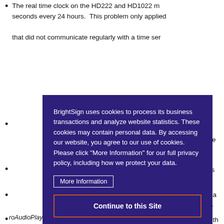The real time clock on the HD222 and HD1022 m seconds every 24 hours. This problem only applied that did not communicate regularly with a time ser
(partial, obscured by overlay)
(partial, obscured by overlay)
(partial, obscured by overlay)
(partial, obscured by overlay)
[Figure (screenshot): Cookie consent overlay with dark purple background. Text reads: 'BrightSign uses cookies to process its business transactions and analyze website statistics. These cookies may contain personal data. By accessing our website, you agree to our use of cookies. Please click "More Information" for our full privacy policy, including how we protect your data.' Contains a 'More Information' button with white border and a 'Continue to this Site' button with orange border.]
roAudioPlayerMx() instance.